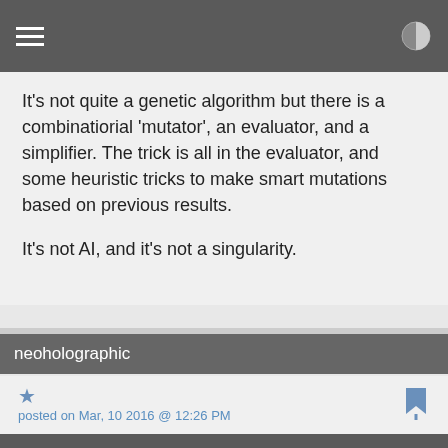It's not quite a genetic algorithm but there is a combinatiorial 'mutator', an evaluator, and a simplifier. The trick is all in the evaluator, and some heuristic tricks to make smart mutations based on previous results.

It's not AI, and it's not a singularity.
neoholographic
posted on Mar, 10 2016 @ 12:26 PM
a reply to: mbkennel
Of course it's about AI and the singularity. I have read the paper but you just have to look at the abstract to understand this. There's a branch of Artificial Intelligence called Deep Learning and this is exactly what you have hear.